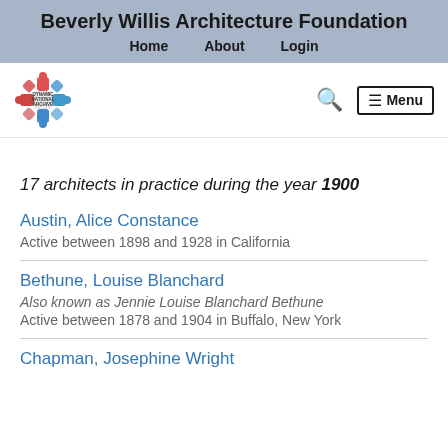Beverly Willis Architecture Foundation
Home   About   Login
[Figure (logo): Dynamic National Archive logo — colorful puzzle-piece snowflake icon]
🔍   ☰ Menu
17 architects in practice during the year 1900
Austin, Alice Constance
Active between 1898 and 1928 in California
Bethune, Louise Blanchard
Also known as Jennie Louise Blanchard Bethune
Active between 1878 and 1904 in Buffalo, New York
Chapman, Josephine Wright